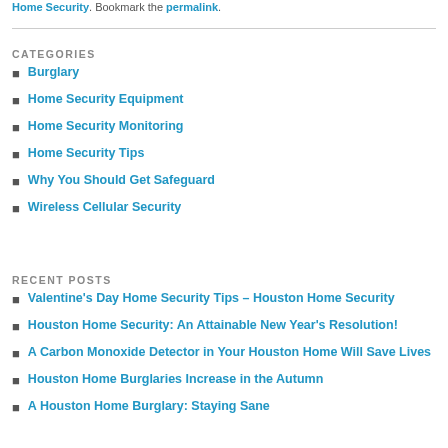Home Security. Bookmark the permalink.
CATEGORIES
Burglary
Home Security Equipment
Home Security Monitoring
Home Security Tips
Why You Should Get Safeguard
Wireless Cellular Security
RECENT POSTS
Valentine's Day Home Security Tips – Houston Home Security
Houston Home Security: An Attainable New Year's Resolution!
A Carbon Monoxide Detector in Your Houston Home Will Save Lives
Houston Home Burglaries Increase in the Autumn
A Houston Home Burglary: Staying Sane